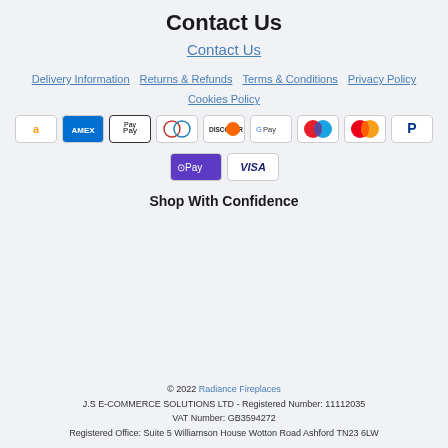Contact Us
Contact Us
Delivery Information | Returns & Refunds | Terms & Conditions | Privacy Policy | Cookies Policy
[Figure (other): Payment method icons: Amazon Pay, American Express, Apple Pay, Diners Club, Discover, Google Pay, Maestro, Mastercard, PayPal, O Pay, Visa]
Shop With Confidence
© 2022 Radiance Fireplaces
J.S E-COMMERCE SOLUTIONS LTD - Registered Number: 11112035
VAT Number: GB3594272
Registered Office: Suite 5 Williamson House Wotton Road Ashford TN23 6LW